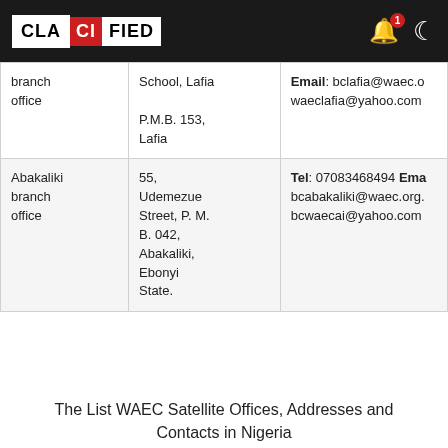CLASSIFIED
| Office | Address | Contact |
| --- | --- | --- |
| branch office | School, Lafia
P.M.B. 153, Lafia | Email: bclafia@waec.o
waeclafia@yahoo.com |
| Abakaliki branch office | 55, Udemezue Street, P. M. B. 042, Abakaliki, Ebonyi State. | Tel: 07083468494 Ema
bcabakaliki@waec.org.
bcwaecai@yahoo.com |
The List WAEC Satellite Offices, Addresses and Contacts in Nigeria